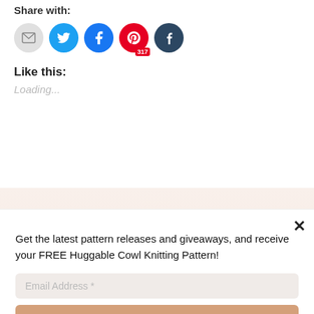Share with:
[Figure (infographic): Social sharing icons: email (grey circle), Twitter (light blue circle), Facebook (blue circle), Pinterest (red circle with 317 badge), Tumblr (dark blue circle)]
Like this:
Loading…
Get the latest pattern releases and giveaways, and receive your FREE Huggable Cowl Knitting Pattern!
Email Address *